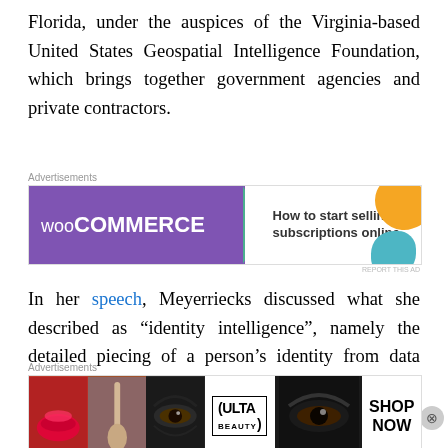Florida, under the auspices of the Virginia-based United States Geospatial Intelligence Foundation, which brings together government agencies and private contractors.
[Figure (illustration): WooCommerce advertisement banner: purple background on left with WooCommerce logo and teal arrow, white background on right with text 'How to start selling subscriptions online' and orange and teal decorative blobs.]
In her speech, Meyerriecks discussed what she described as “identity intelligence”, namely the detailed piecing of a person’s identity from data acquired from his or her online activity and digital footprint left on wireless devices of all kinds. This data, combined with footage from closed-circuit television (CCTV) systems and other forms of audiovisual surveillance, poses tremendous barriers to clandesti…
[Figure (illustration): ULTA Beauty advertisement banner showing close-up beauty/makeup images and a SHOP NOW call to action.]